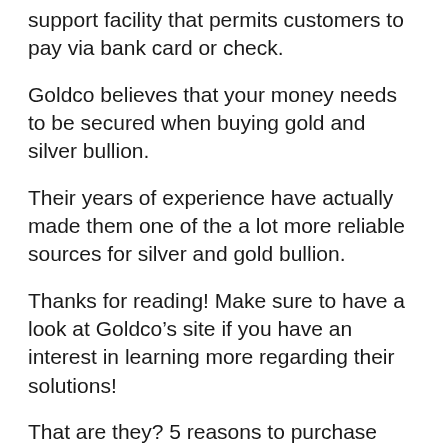support facility that permits customers to pay via bank card or check.
Goldco believes that your money needs to be secured when buying gold and silver bullion.
Their years of experience have actually made them one of the a lot more reliable sources for silver and gold bullion.
Thanks for reading! Make sure to have a look at Goldco’s site if you have an interest in learning more regarding their solutions!
That are they? 5 reasons to purchase from Goldco
Goldco is a leading rare-earth element provider that has actually remained in the